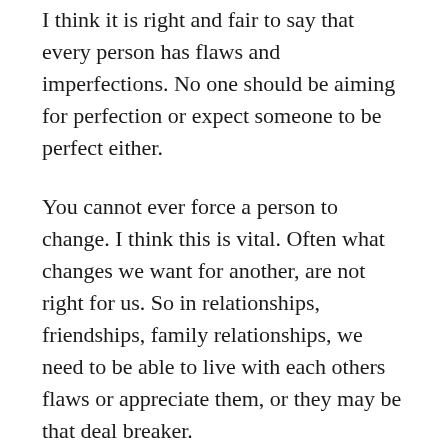I think it is right and fair to say that every person has flaws and imperfections. No one should be aiming for perfection or expect someone to be perfect either.
You cannot ever force a person to change. I think this is vital. Often what changes we want for another, are not right for us. So in relationships, friendships, family relationships, we need to be able to live with each others flaws or appreciate them, or they may be that deal breaker.
It may be our perfections that attract one another in the first place. But it is our imperfections that decide whether or not we stay together. The most accurate metric for your love of somebody is how you feel about their flaws. If you accept them and even adore some of their shortcomings. These are